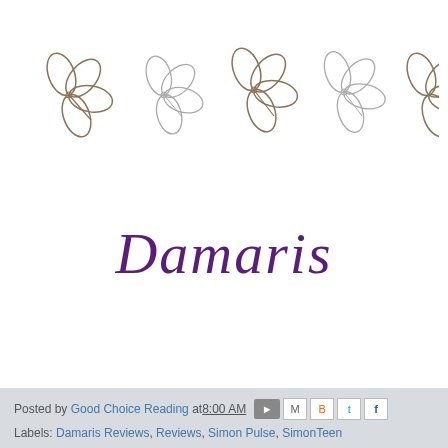[Figure (illustration): A row of decorative hand-drawn flower/clover shapes in brownish-tan ink, partially cropped on the right side]
Damaris
Posted by Good Choice Reading at 8:00 AM
Labels: Damaris Reviews, Reviews, Simon Pulse, SimonTeen